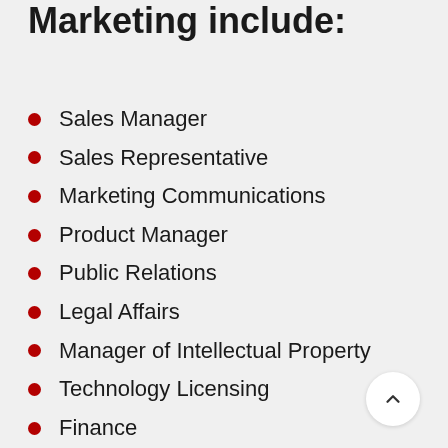Marketing include:
Sales Manager
Sales Representative
Marketing Communications
Product Manager
Public Relations
Legal Affairs
Manager of Intellectual Property
Technology Licensing
Finance